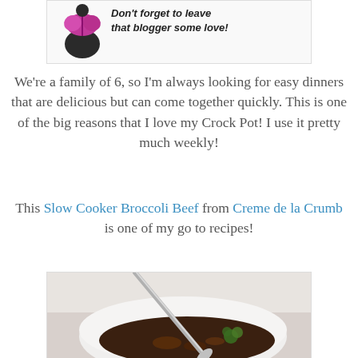[Figure (illustration): Cartoon blogger illustration with text 'Don't forget to leave that blogger some love!']
We're a family of 6, so I'm always looking for easy dinners that are delicious but can come together quickly. This is one of the big reasons that I love my Crock Pot! I use it pretty much weekly!
This Slow Cooker Broccoli Beef from Creme de la Crumb is one of my go to recipes!
[Figure (photo): Photo of a white bowl containing slow cooker broccoli beef with a silver spoon, dark sauce with broccoli and beef pieces visible.]